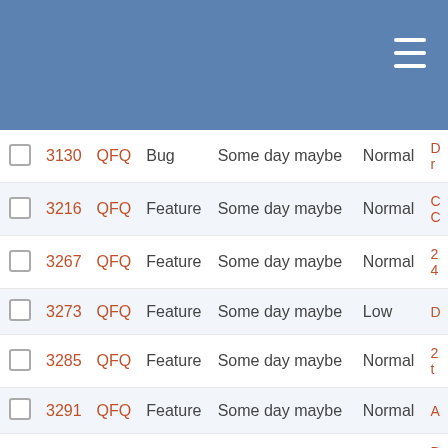|  | # | Project | Type | Milestone | Priority |  |
| --- | --- | --- | --- | --- | --- | --- |
|  | 3130 | QFQ | Bug | Some day maybe | Normal | D... |
|  | 3216 | QFQ | Feature | Some day maybe | Normal | C... |
|  | 3267 | QFQ | Feature | Some day maybe | Normal | 2... |
|  | 3273 | QFQ | Feature | Some day maybe | Low | D... |
|  | 3285 | QFQ | Feature | Some day maybe | Normal | 2... |
|  | 3291 | QFQ | Feature | Some day maybe | Normal | A... |
|  | 3331 | QFQ | Feature | Some day maybe | Normal | D... |
|  | 3332 | QFQ | Feature | Some day maybe | Normal | D... |
|  | 3349 | QFQ | Bug | Some day maybe | Normal | F... |